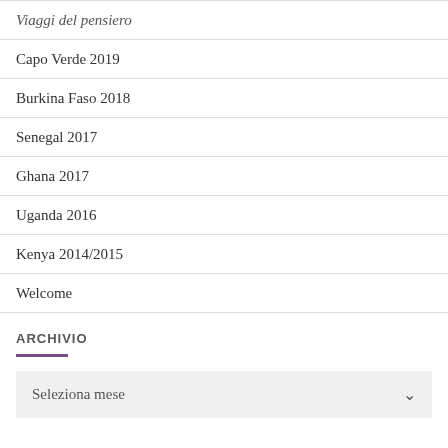Viaggi del pensiero
Capo Verde 2019
Burkina Faso 2018
Senegal 2017
Ghana 2017
Uganda 2016
Kenya 2014/2015
Welcome
ARCHIVIO
Seleziona mese